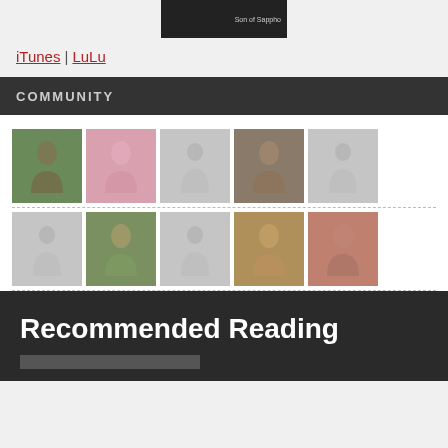[Figure (illustration): Book cover image with dark background and 'Son of Sappho' text]
iTunes | LuLu
COMMUNITY
[Figure (photo): Grid of community member avatar photos — two rows of five avatars each, some are real photos and some are default placeholder silhouettes]
Recommended Reading
[Figure (illustration): Partial book cover image at bottom]